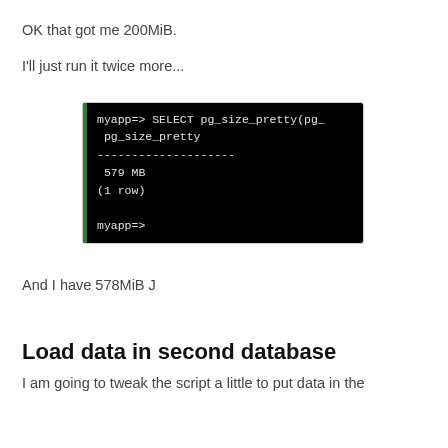OK that got me 200MiB.
I'll just run it twice more...
[Figure (screenshot): Terminal screenshot showing a PostgreSQL query result: 'myapp=> SELECT pg_size_pretty(pg...' with result '579 MB (1 row)' and prompt 'myapp=>']
And I have 578MiB J
Load data in second database
I am going to tweak the script a little to put data in the